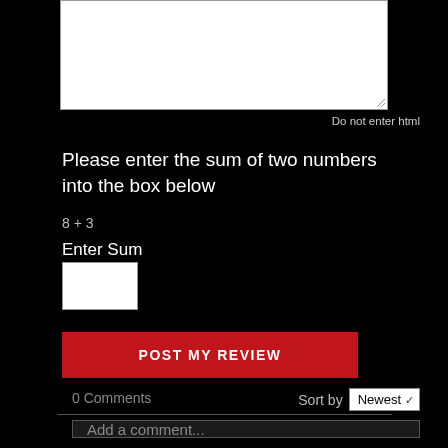[Figure (screenshot): Text area input box at top of page]
Do not enter html
Please enter the sum of two numbers into the box below
8 + 3
Enter Sum
[Figure (screenshot): White input box for entering the sum]
POST MY REVIEW
0 Comments
Sort by
Newest
Add a comment...